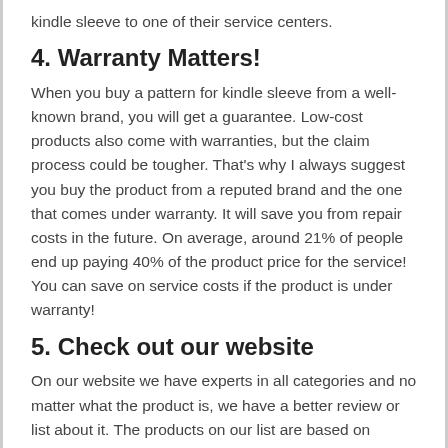kindle sleeve to one of their service centers.
4. Warranty Matters!
When you buy a pattern for kindle sleeve from a well-known brand, you will get a guarantee. Low-cost products also come with warranties, but the claim process could be tougher. That's why I always suggest you buy the product from a reputed brand and the one that comes under warranty. It will save you from repair costs in the future. On average, around 21% of people end up paying 40% of the product price for the service! You can save on service costs if the product is under warranty!
5. Check out our website
On our website we have experts in all categories and no matter what the product is, we have a better review or list about it. The products on our list are based on expert picks, advice and hours of research. That's why when you buy something that's listed on our best list, you won't regret it.